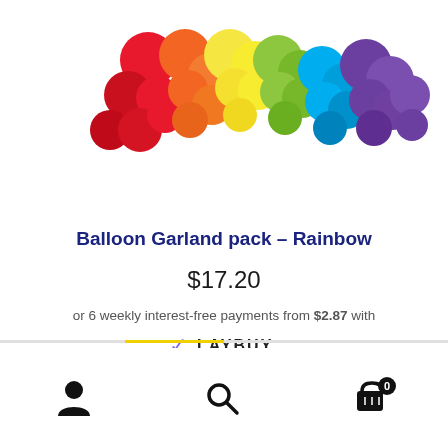[Figure (photo): Rainbow balloon garland product photo showing colorful balloons arranged in an arc spanning red, orange, yellow, green, blue, and purple colors]
Balloon Garland pack – Rainbow
$17.20
or 6 weekly interest-free payments from $2.87 with LAYBUY
[Figure (logo): Laybuy logo with purple checkmark V and bold text LAYBUY]
[Figure (other): Bottom navigation bar with account icon, search icon, and cart icon showing 0 items]